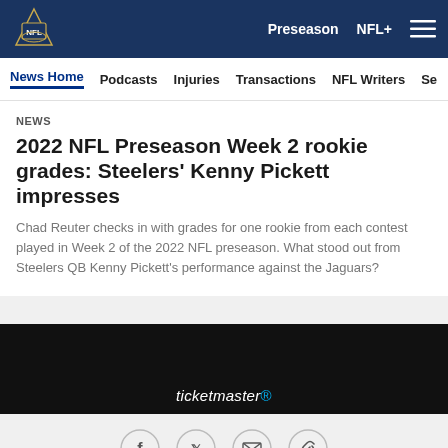NFL logo | Preseason | NFL+ | Menu
News Home | Podcasts | Injuries | Transactions | NFL Writers | Se
NEWS
2022 NFL Preseason Week 2 rookie grades: Steelers' Kenny Pickett impresses
Chad Reuter checks in with grades for one rookie from each contest played in Week 2 of the 2022 NFL preseason. What stood out from Steelers QB Kenny Pickett's performance against the Jaguars?
[Figure (screenshot): Ticketmaster dark advertisement banner]
[Figure (infographic): Social share icons: Facebook, Twitter, Email, Link]